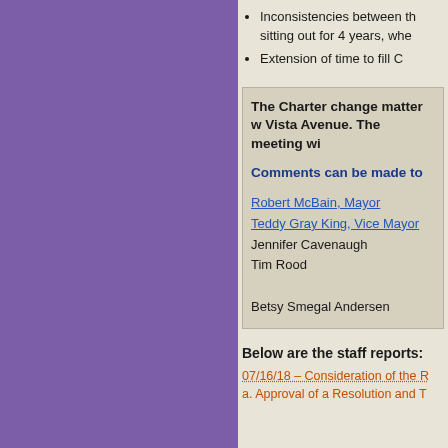Inconsistencies between the sitting out for 4 years, whe
Extension of time to fill C
The Charter change matter w Vista Avenue. The meeting wi
Comments can be made to
Robert McBain, Mayor
Teddy Gray King, Vice Mayor
Jennifer Cavenaugh
Tim Rood
Betsy Smegal Andersen
Below are the staff reports:
07/16/18 – Consideration of the R
a. Approval of a Resolution and T